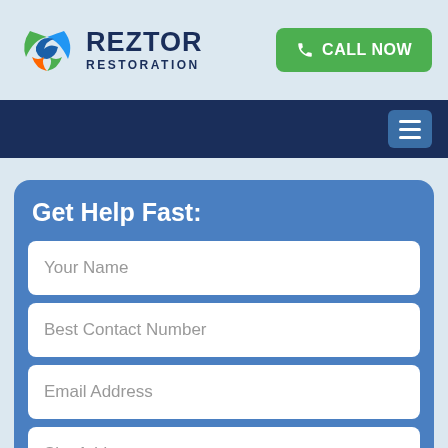[Figure (logo): Reztor Restoration logo with circular bird/globe icon in green, blue, and orange]
CALL NOW
[Figure (other): Hamburger menu icon (three horizontal lines) on dark blue navigation bar]
Get Help Fast:
Your Name
Best Contact Number
Email Address
Site Address